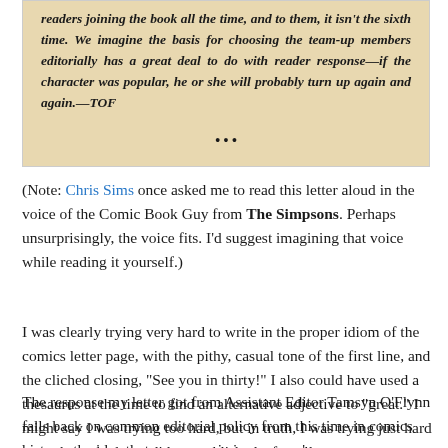[Figure (photo): Scanned image of a printed comic book letter column excerpt in italic bold text on aged yellowish paper, reading: 'readers joining the book all the time, and to them, it isn't the sixth time. We imagine the basis for choosing the team-up members editorially has a great deal to do with reader response—if the character was popular, he or she will probably turn up again and again.—TOF' followed by three asterisks.]
(Note: Chris Sims once asked me to read this letter aloud in the voice of the Comic Book Guy from The Simpsons. Perhaps unsurprisingly, the voice fits. I'd suggest imagining that voice while reading it yourself.)
I was clearly trying very hard to write in the proper idiom of the comics letter page, with the pithy, casual tone of the first line, and the cliched closing, "See you in thirty!" I also could have used a thesaurus at the time to find an alternative adjective to "great." I might say I was trying too hard, but in truth, I was trying just hard enough, as the letter did get published, after all.
The response my letter got from Assistant Editor Tamsyn O'Flynn falls back on common editorial policy from this time in comics history: the idea that every comic is someone's